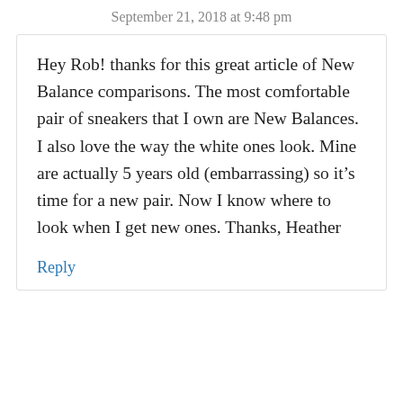September 21, 2018 at 9:48 pm
Hey Rob! thanks for this great article of New Balance comparisons. The most comfortable pair of sneakers that I own are New Balances. I also love the way the white ones look. Mine are actually 5 years old (embarrassing) so it’s time for a new pair. Now I know where to look when I get new ones. Thanks, Heather
Reply